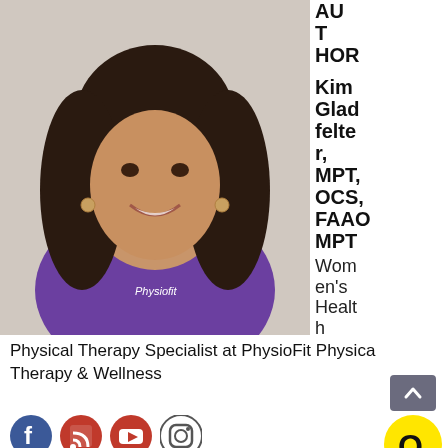[Figure (photo): Professional headshot of Kim Gladfelter, a woman with curly dark hair wearing a purple PhysioFit top, smiling at camera against a light background]
AU
T
HOR
Kim Gladfelter, MPT, OCS, FAAOMPT
Women's Health
Physical Therapy Specialist at PhysioFit Physical Therapy & Wellness
[Figure (logo): Social media icons: Facebook (blue), RSS/rss feed (red), YouTube (red with play button), Instagram (outlined)]
[Figure (logo): Scroll-to-top button (dark arrow up) and Quora Q circle logo in yellow]